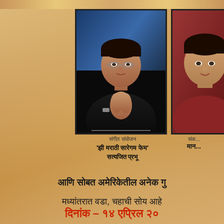[Figure (photo): Portrait photo of a man in black attire with hands folded in namaste gesture, wearing glasses, against a blue background]
[Figure (photo): Partial portrait photo of a person in red/maroon attire, partially visible on right edge]
संगीत संयोजन
'झी मराठी सारेगम फेम'
सत्यजित प्रभू
संक...
मान...
आणि सोबत अमेरिकेतील अनेक गु
मध्यांतरात वडा, चहाची सोय आहे
दिनांक – १४ एप्रिल २०